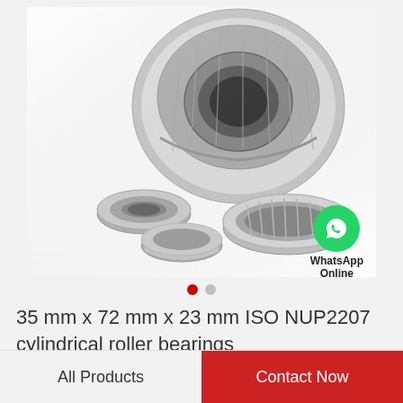[Figure (photo): Photo of tapered/cylindrical roller bearing components disassembled, showing inner races, outer races, and roller cage, on white background. WhatsApp Online badge overlaid in bottom right corner of image.]
35 mm x 72 mm x 23 mm ISO NUP2207 cylindrical roller bearings
All Products
Contact Now